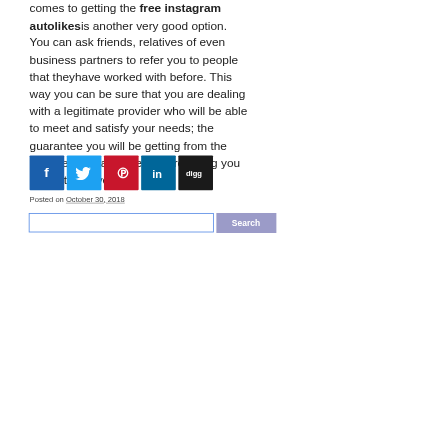comes to getting the free instagram autolikes is another very good option. You can ask friends, relatives of even business partners to refer you to people that theyhave worked with before. This way you can be sure that you are dealing with a legitimate provider who will be able to meet and satisfy your needs; the guarantee you will be getting from the experience that whoever is referring you had with the vendor.
[Figure (other): Social share buttons: Facebook (blue), Twitter (light blue), Pinterest (red), LinkedIn (teal), Digg (black)]
Posted on October 30, 2018